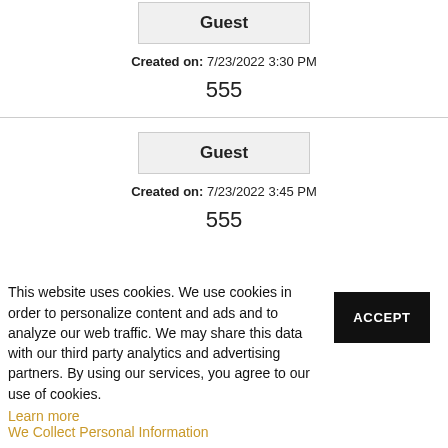Guest
Created on: 7/23/2022 3:30 PM
555
Guest
Created on: 7/23/2022 3:45 PM
555
This website uses cookies. We use cookies in order to personalize content and ads and to analyze our web traffic. We may share this data with our third party analytics and advertising partners. By using our services, you agree to our use of cookies.
Learn more
We Collect Personal Information